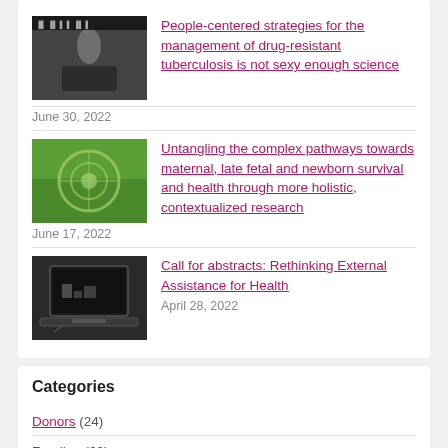[Figure (photo): Black and white photo thumbnail for tuberculosis article]
People-centered strategies for the management of drug-resistant tuberculosis is not sexy enough science
June 30, 2022
[Figure (photo): Green garden/maze photo thumbnail for maternal health article]
Untangling the complex pathways towards maternal, late fetal and newborn survival and health through more holistic, contextualized research
June 17, 2022
[Figure (photo): Laptop photo thumbnail for abstracts article]
Call for abstracts: Rethinking External Assistance for Health
April 28, 2022
Categories
Donors (24)
Funding (60)